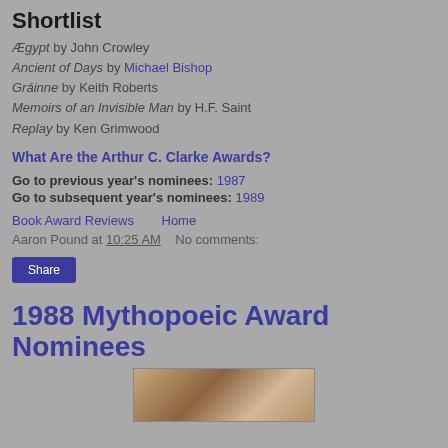Shortlist
Ægypt by John Crowley
Ancient of Days by Michael Bishop
Gráinne by Keith Roberts
Memoirs of an Invisible Man by H.F. Saint
Replay by Ken Grimwood
What Are the Arthur C. Clarke Awards?
Go to previous year's nominees: 1987
Go to subsequent year's nominees: 1989
Book Award Reviews    Home
Aaron Pound at 10:25 AM   No comments:
Share
1988 Mythopoeic Award Nominees
[Figure (photo): Partial image of a wooden surface with a white figurine or sculpture, cropped at bottom of page]